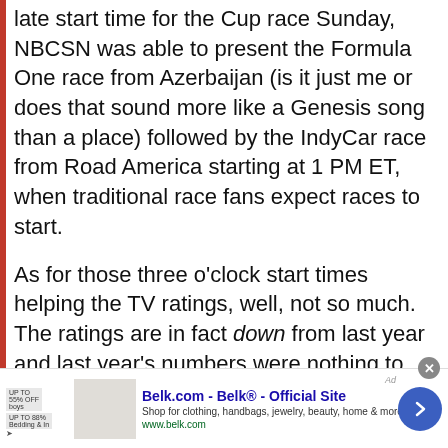late start time for the Cup race Sunday, NBCSN was able to present the Formula One race from Azerbaijan (is it just me or does that sound more like a Genesis song than a place) followed by the IndyCar race from Road America starting at 1 PM ET, when traditional race fans expect races to start.
As for those three o'clock start times helping the TV ratings, well, not so much. The ratings are in fact down from last year and last year's numbers were nothing to write home about. But the official line is that the ratings are down less than they would have been had the earlier start times still
[Figure (other): Belk.com advertisement banner showing Belk Official Site with logo, product image, and navigation arrow]